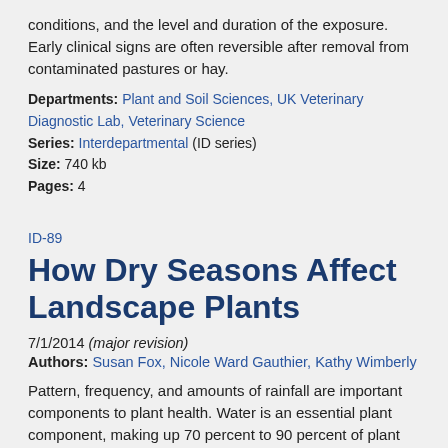conditions, and the level and duration of the exposure. Early clinical signs are often reversible after removal from contaminated pastures or hay.
Departments: Plant and Soil Sciences, UK Veterinary Diagnostic Lab, Veterinary Science
Series: Interdepartmental (ID series)
Size: 740 kb
Pages: 4
ID-89
How Dry Seasons Affect Landscape Plants
7/1/2014 (major revision)
Authors: Susan Fox, Nicole Ward Gauthier, Kathy Wimberly
Pattern, frequency, and amounts of rainfall are important components to plant health. Water is an essential plant component, making up 70 percent to 90 percent of plant mass. During dry seasons and drought conditions, plants become stressed. Growth